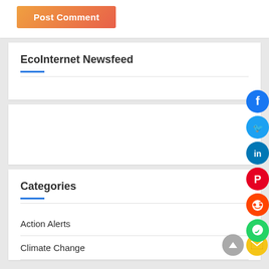Post Comment
EcoInternet Newsfeed
Categories
Action Alerts
Climate Change